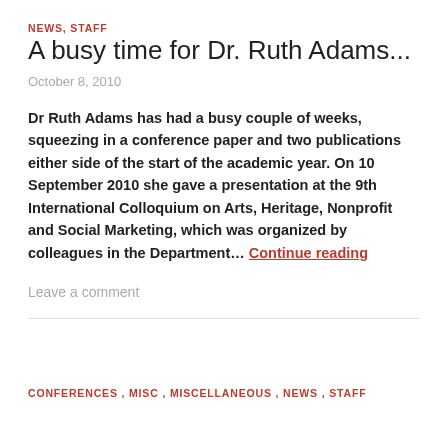NEWS, STAFF
A busy time for Dr. Ruth Adams...
October 8, 2010
Dr Ruth Adams has had a busy couple of weeks, squeezing in a conference paper and two publications either side of the start of the academic year. On 10 September 2010 she gave a presentation at the 9th International Colloquium on Arts, Heritage, Nonprofit and Social Marketing, which was organized by colleagues in the Department... Continue reading
Leave a comment
CONFERENCES, MISC, MISCELLANEOUS, NEWS, STAFF